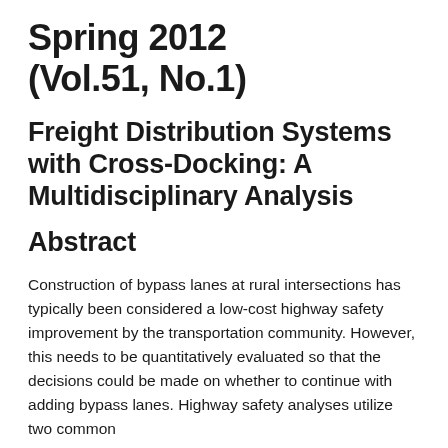Spring 2012 (Vol.51, No.1)
Freight Distribution Systems with Cross-Docking: A Multidisciplinary Analysis
Abstract
Construction of bypass lanes at rural intersections has typically been considered a low-cost highway safety improvement by the transportation community. However, this needs to be quantitatively evaluated so that the decisions could be made on whether to continue with adding bypass lanes. Highway safety analyses utilize two common